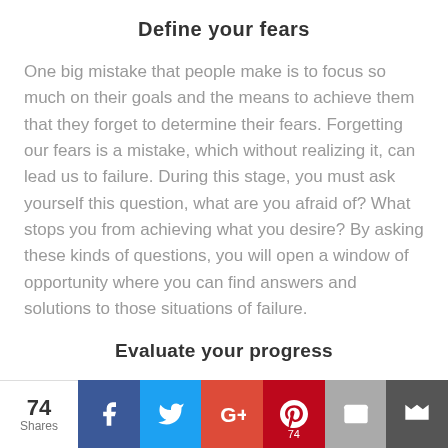Define your fears
One big mistake that people make is to focus so much on their goals and the means to achieve them that they forget to determine their fears. Forgetting our fears is a mistake, which without realizing it, can lead us to failure. During this stage, you must ask yourself this question, what are you afraid of? What stops you from achieving what you desire? By asking these kinds of questions, you will open a window of opportunity where you can find answers and solutions to those situations of failure.
Evaluate your progress
During this phase, it is very important to evaluate all
74 Shares | Facebook | Twitter | Google+ | Pinterest 74 | Email | Crown